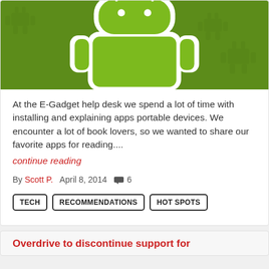[Figure (illustration): Android robot logo (green robot silhouette on green background with subtle Android robot watermarks)]
At the E-Gadget help desk we spend a lot of time with installing and explaining apps portable devices. We encounter a lot of book lovers, so we wanted to share our favorite apps for reading.... continue reading
By Scott P.  April 8, 2014  6
TECH    RECOMMENDATIONS    HOT SPOTS
Overdrive to discontinue support for